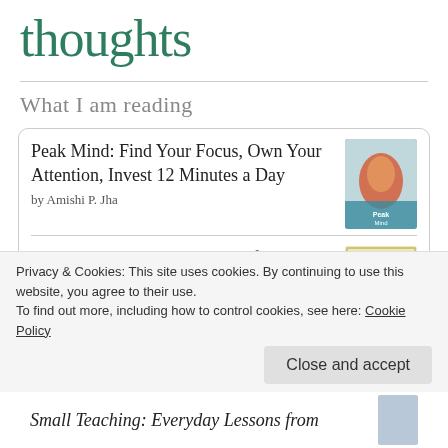thoughts
What I am reading
Peak Mind: Find Your Focus, Own Your Attention, Invest 12 Minutes a Day
by Amishi P. Jha
Kaizen: The Japanese Method for
Privacy & Cookies: This site uses cookies. By continuing to use this website, you agree to their use.
To find out more, including how to control cookies, see here: Cookie Policy
Close and accept
Small Teaching: Everyday Lessons from